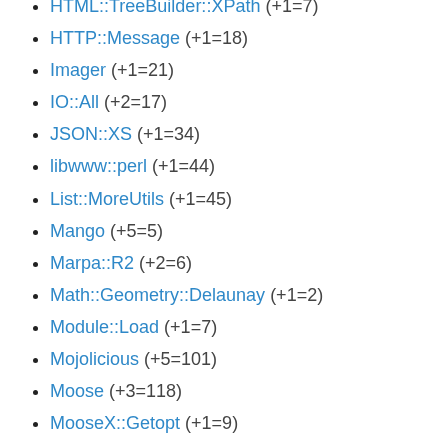HTML::TreeBuilder::XPath (+1=7)
HTTP::Message (+1=18)
Imager (+1=21)
IO::All (+2=17)
JSON::XS (+1=34)
libwww::perl (+1=44)
List::MoreUtils (+1=45)
Mango (+5=5)
Marpa::R2 (+2=6)
Math::Geometry::Delaunay (+1=2)
Module::Load (+1=7)
Mojolicious (+5=101)
Moose (+3=118)
MooseX::Getopt (+1=9)
MooseX::MethodAttributes (+1=2)
MooseX::Traits (+1=9)
Net::OpenSSH (+1=5)
Net::Server (+1=2)